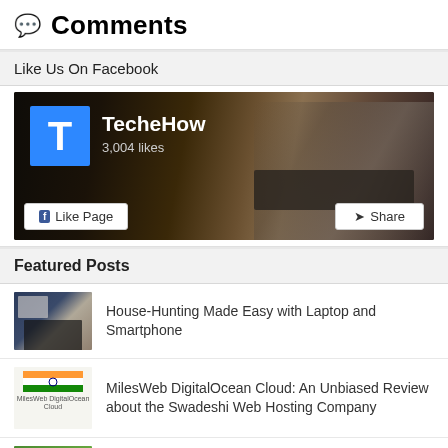💬 Comments
Like Us On Facebook
[Figure (screenshot): Facebook Like Page widget for TecheHow showing 3,004 likes with Like Page and Share buttons]
Featured Posts
House-Hunting Made Easy with Laptop and Smartphone
MilesWeb DigitalOcean Cloud: An Unbiased Review about the Swadeshi Web Hosting Company
How To Make the Best Decisions About a New Home Purchase Using Modern Tech